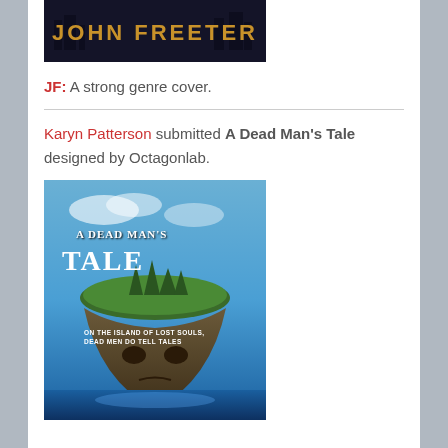[Figure (illustration): Book cover showing 'JOHN FREETER' in gold text on dark background]
JF: A strong genre cover.
Karyn Patterson submitted A Dead Man's Tale designed by Octagonlab.
[Figure (illustration): Book cover for 'A Dead Man's Tale' showing a floating island shaped like a skull with text 'On the island of lost souls, dead men do tell tales']